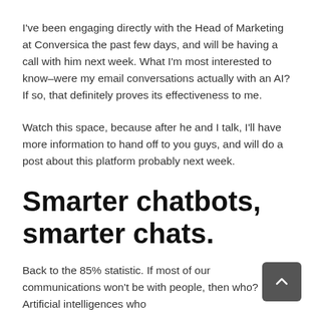I've been engaging directly with the Head of Marketing at Conversica the past few days, and will be having a call with him next week. What I'm most interested to know–were my email conversations actually with an AI? If so, that definitely proves its effectiveness to me.
Watch this space, because after he and I talk, I'll have more information to hand off to you guys, and will do a post about this platform probably next week.
Smarter chatbots, smarter chats.
Back to the 85% statistic. If most of our communications won't be with people, then who? Artificial intelligences who